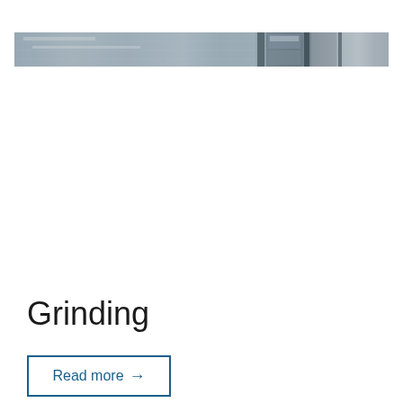[Figure (photo): A wide panoramic industrial photograph showing grinding machinery or metal working equipment, rendered in grayscale/steel tones with mechanical components visible.]
Grinding
Read more →